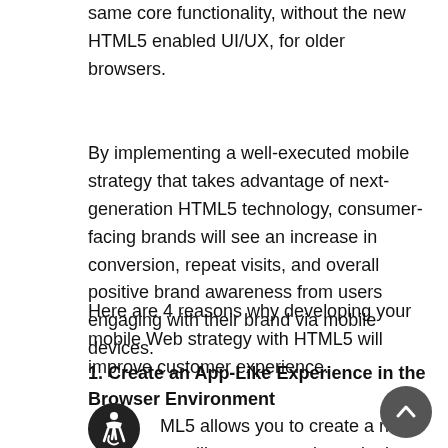same core functionality, without the new HTML5 enabled UI/UX, for older browsers.
By implementing a well-executed mobile strategy that takes advantage of next-generation HTML5 technology, consumer-facing brands will see an increase in conversion, repeat visits, and overall positive brand awareness from users engaging with their brand via mobile devices.
Here are 4 reasons why developing your mobile Web strategy with HTML5 will improve customer experience.
1. Create an App-Like Experience in the Browser Environment
HTML5 allows you to create a rich, app-like user experience in the mobile browser, one that doesn't